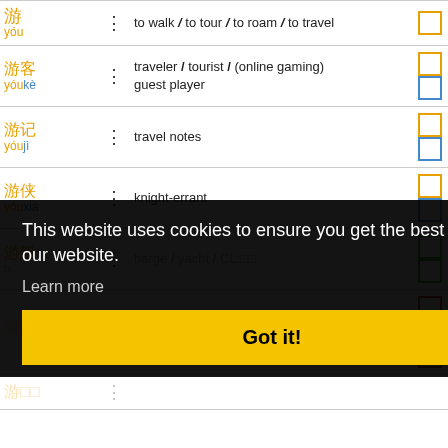| Character | Dots | Definition | Icon |
| --- | --- | --- | --- |
| 游 yóu | ⋮ | to walk / to tour / to roam / to travel | □ |
| 游客 yóukè | ⋮ | traveler / tourist / (online gaming) guest player | □□ |
| 游记 yóujì | ⋮ | travel notes | □□ |
| 游侠 yóuxiá | ⋮ | knight-errant | □□ |
| 游艇 yóutǐng | ⋮ | barge / yacht / CL:□□ | □□ |
| 游戏机 yóuxìjī | ⋮ | video game / game machine | □□□ |
| 游 (partial) | ⋮ | ... | ... |
This website uses cookies to ensure you get the best experience on our website. Learn more
Got it!